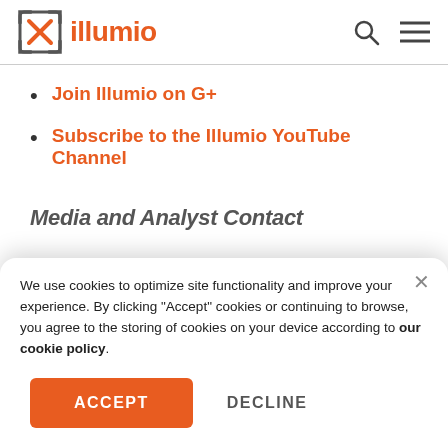illumio
Join Illumio on G+
Subscribe to the Illumio YouTube Channel
Media and Analyst Contact
We use cookies to optimize site functionality and improve your experience. By clicking "Accept" cookies or continuing to browse, you agree to the storing of cookies on your device according to our cookie policy.